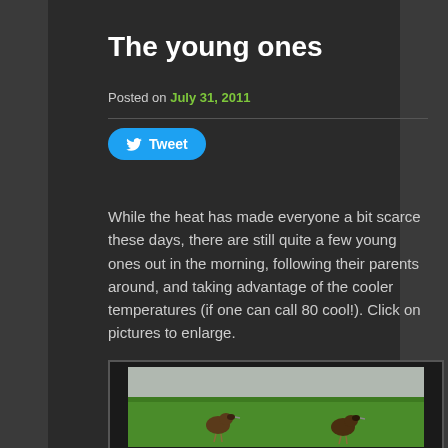The young ones
Posted on July 31, 2011
[Figure (screenshot): Tweet button with Twitter bird icon]
While the heat has made everyone a bit scarce these days, there are still quite a few young ones out in the morning, following their parents around, and taking advantage of the cooler temperatures (if one can call 80 cool!). Click on pictures to enlarge.
[Figure (photo): Two young brown birds standing in green grass]